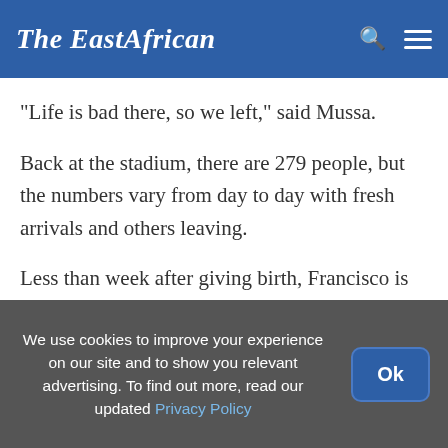The EastAfrican
"Life is bad there, so we left," said Mussa.
Back at the stadium, there are 279 people, but the numbers vary from day to day with fresh arrivals and others leaving.
Less than week after giving birth, Francisco is still convalescing. She walks slowly with a slight gait, drawing water, washing and drying her
We use cookies to improve your experience on our site and to show you relevant advertising. To find out more, read our updated Privacy Policy